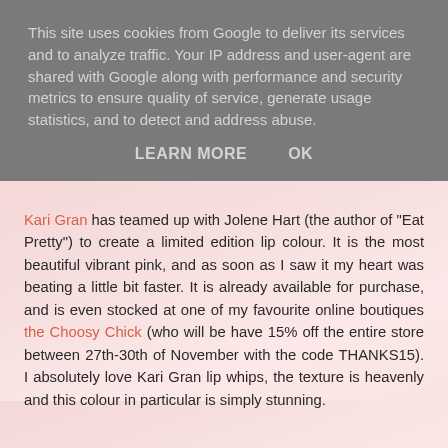This site uses cookies from Google to deliver its services and to analyze traffic. Your IP address and user-agent are shared with Google along with performance and security metrics to ensure quality of service, generate usage statistics, and to detect and address abuse.
LEARN MORE    OK
Kari Gran has teamed up with Jolene Hart (the author of "Eat Pretty") to create a limited edition lip colour. It is the most beautiful vibrant pink, and as soon as I saw it my heart was beating a little bit faster. It is already available for purchase, and is even stocked at one of my favourite online boutiques the Choosy Chick (who will be have 15% off the entire store between 27th-30th of November with the code THANKS15). I absolutely love Kari Gran lip whips, the texture is heavenly and this colour in particular is simply stunning.